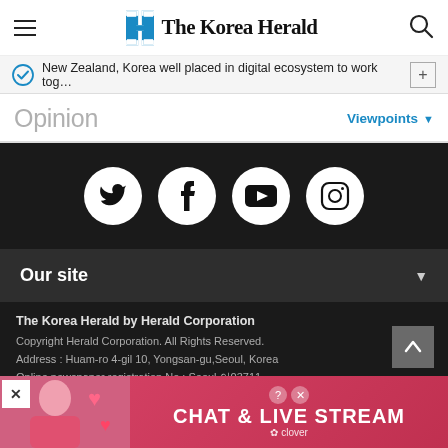The Korea Herald
New Zealand, Korea well placed in digital ecosystem to work tog…
Opinion
Viewpoints
[Figure (other): Social media icons: Twitter, Facebook, YouTube, Instagram on black background]
Our site
The Korea Herald by Herald Corporation
Copyright Herald Corporation. All Rights Reserved.
Address : Huam-ro 4-gil 10, Yongsan-gu, Seoul, Korea
Online newspaper registration No.: Seoul 아03711
Date of registration : 2015.04.28
Publisher, Editor : Jeon Chang-hyeop
Juvenile Protection Manager: Ahn Sung-mi
[Figure (photo): Advertisement banner: CHAT & LIVE STREAM by Clover]